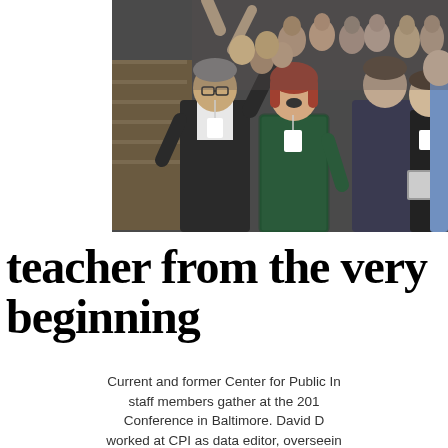[Figure (photo): Group photo of current and former Center for Public Integrity staff members gathered at a conference in Baltimore. A man in a suit raises his hand enthusiastically on the left, a woman in a green top laughs in the center, and many others are visible in the background on stairs.]
teacher from the very beginning
Current and former Center for Public Integrity staff members gather at the 2019 Conference in Baltimore. David D... worked at CPI as data editor, overseeing...